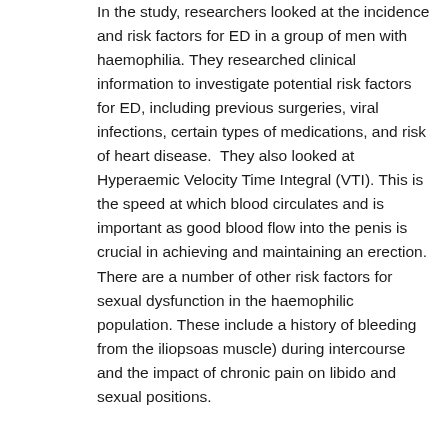In the study, researchers looked at the incidence and risk factors for ED in a group of men with haemophilia. They researched clinical information to investigate potential risk factors for ED, including previous surgeries, viral infections, certain types of medications, and risk of heart disease.  They also looked at Hyperaemic Velocity Time Integral (VTI). This is the speed at which blood circulates and is important as good blood flow into the penis is crucial in achieving and maintaining an erection.
There are a number of other risk factors for sexual dysfunction in the haemophilic population. These include a history of bleeding from the iliopsoas muscle) during intercourse and the impact of chronic pain on libido and sexual positions.